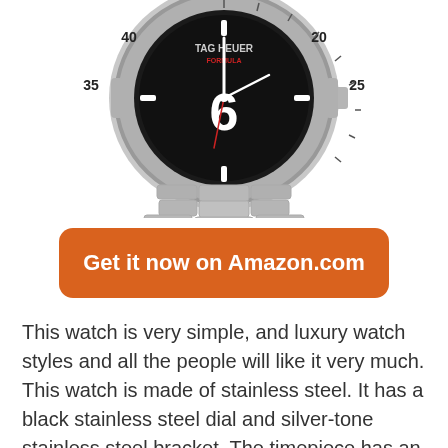[Figure (photo): TAG Heuer watch with black dial, silver-tone stainless steel bezel with minute markers and numbers (20, 25, 30, 35, 40), silver stainless steel bracelet. Large white Arabic numeral 6 visible on the dial.]
Get it now on Amazon.com
This watch is very simple, and luxury watch styles and all the people will like it very much. This watch is made of stainless steel. It has a black stainless steel dial and silver-tone stainless steel bracket. The timepiece has an Arabic numeral mark on the front of